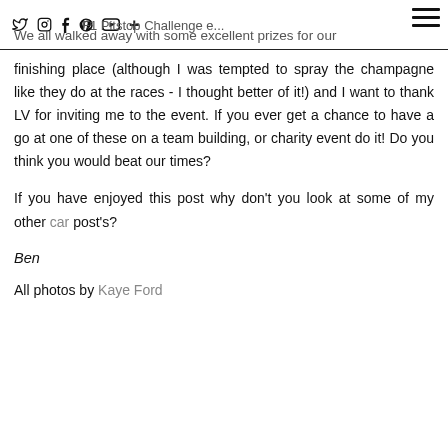social icons and navigation header with F1 Pitstop Challenge text
finishing place (although I was tempted to spray the champagne like they do at the races - I thought better of it!) and I want to thank LV for inviting me to the event. If you ever get a chance to have a go at one of these on a team building, or charity event do it! Do you think you would beat our times?
If you have enjoyed this post why don't you look at some of my other car post's?
Ben
All photos by Kaye Ford